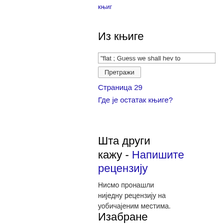књиг
Из књиге
"flat ; Guess we shall hev to
Претражи
Страница 29
Где је остатак књиге?
Шта други кажу - Напишите рецензију
Нисмо пронашли ниједну рецензију на уобичајеним местима.
Изабране странице